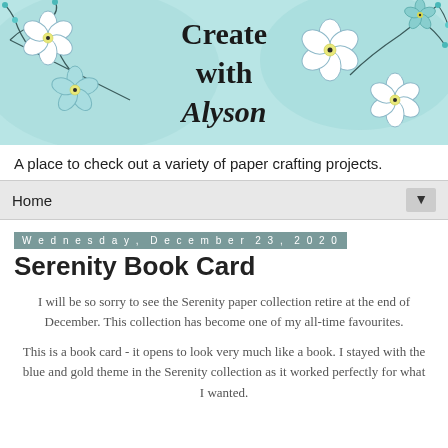[Figure (illustration): Blog header banner with light teal/aqua watercolor background, decorative hand-drawn teal flowers and branches on left and right sides, with bold text reading 'Create with Alyson' in the center.]
A place to check out a variety of paper crafting projects.
Home ▼
Wednesday, December 23, 2020
Serenity Book Card
I will be so sorry to see the Serenity paper collection retire at the end of December. This collection has become one of my all-time favourites.
This is a book card - it opens to look very much like a book. I stayed with the blue and gold theme in the Serenity collection as it worked perfectly for what I wanted.